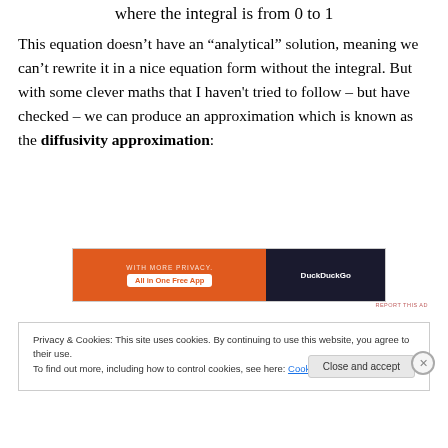where the integral is from 0 to 1
This equation doesn’t have an “analytical” solution, meaning we can’t rewrite it in a nice equation form without the integral. But with some clever maths that I haven't tried to follow – but have checked – we can produce an approximation which is known as the diffusivity approximation:
[Figure (other): Advertisement banner: DuckDuckGo All in One Free App promotional ad with orange and dark background]
Privacy & Cookies: This site uses cookies. By continuing to use this website, you agree to their use. To find out more, including how to control cookies, see here: Cookie Policy